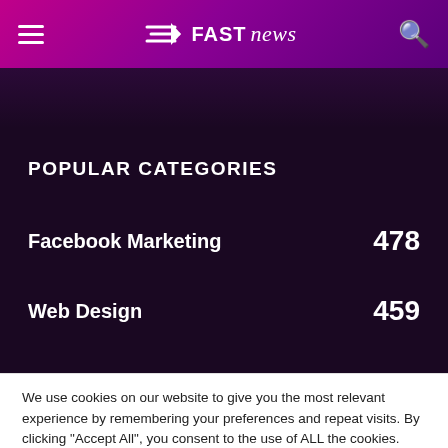Fast News — navigation header with hamburger menu, logo, and search icon
POPULAR CATEGORIES
Facebook Marketing 478
Web Design 459
We use cookies on our website to give you the most relevant experience by remembering your preferences and repeat visits. By clicking "Accept All", you consent to the use of ALL the cookies. However, you may visit "Cookie Settings" to provide a controlled consent.